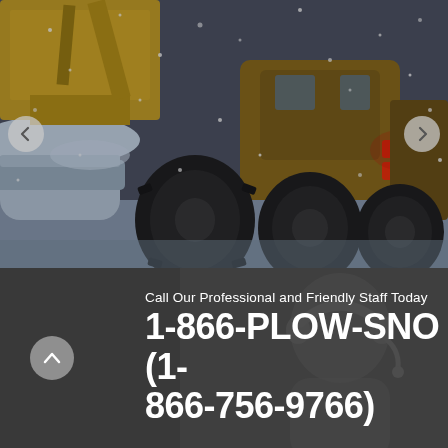[Figure (photo): A large snow plow / heavy truck with oversized tires clearing snow in a blizzard. Yellow construction equipment visible in background. Rear taillights glowing red. Heavy snow falling.]
Call Our Professional and Friendly Staff Today
1-866-PLOW-SNO (1-866-756-9766)